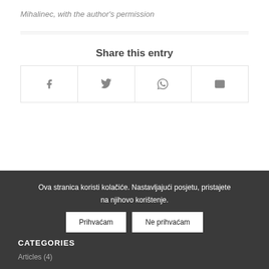Mihalinec, with the author's permission
Share this entry
[Figure (other): Four social share buttons: Facebook, Twitter, WhatsApp, Email]
Ova stranica koristi kolačiće. Nastavljajući posjetu, pristajete na njihovo korištenje.
Prihvaćam   Ne prihvaćam
CATEGORIES
Articles (4)